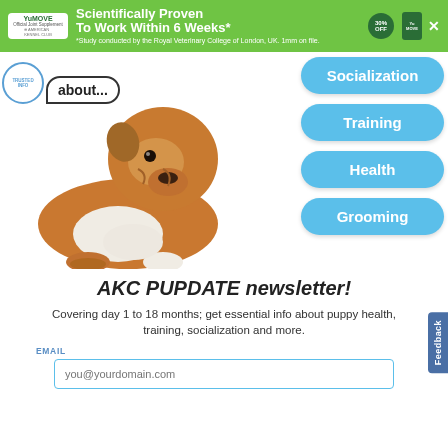[Figure (infographic): YuMOVE advertisement banner with green background, logo, text 'Scientifically Proven To Work Within 6 Weeks*', 30% OFF badge, product image, and close button. Fine print: *Study conducted by the Royal Veterinary College of London, UK. 1mm on file.]
[Figure (photo): English Bulldog puppy sitting and looking up against white background, with speech bubble showing 'about...' and AKC stamp logo]
Socialization
Training
Health
Grooming
AKC PUPDATE newsletter!
Covering day 1 to 18 months; get essential info about puppy health, training, socialization and more.
EMAIL
you@yourdomain.com